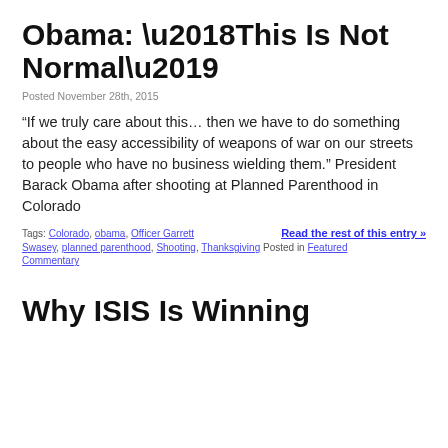Obama: ‘This Is Not Normal’
Posted November 28th, 2015
“If we truly care about this… then we have to do something about the easy accessibility of weapons of war on our streets to people who have no business wielding them.” President Barack Obama after shooting at Planned Parenthood in Colorado
Tags: Colorado, obama, Officer Garrett Swasey, planned parenthood, Shooting, Thanksgiving Posted in Featured Commentary
Read the rest of this entry »
Why ISIS Is Winning